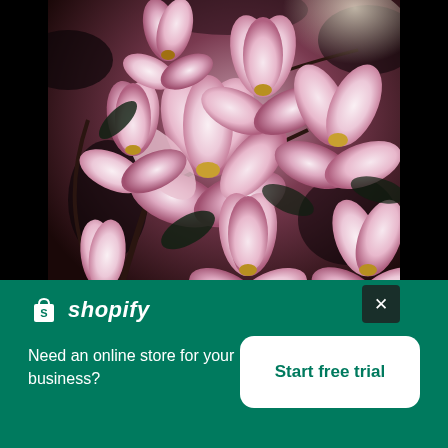[Figure (photo): Close-up photograph of pink magnolia tree blossoms blooming on branches, with sunlight filtering through, shown against dark side bars on left and right.]
Tree Blossoms Blooming
[Figure (logo): Shopify logo: white shopping bag icon with letter S, followed by italic bold white text 'shopify', on a green background.]
Need an online store for your business?
Start free trial